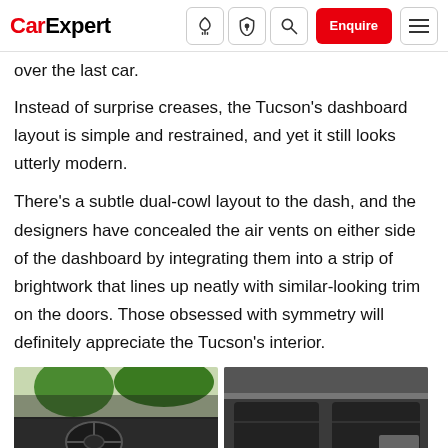CarExpert — navigation bar with logo, icons, Enquire button, and hamburger menu
over the last car.
Instead of surprise creases, the Tucson's dashboard layout is simple and restrained, and yet it still looks utterly modern.
There's a subtle dual-cowl layout to the dash, and the designers have concealed the air vents on either side of the dashboard by integrating them into a strip of brightwork that lines up neatly with similar-looking trim on the doors. Those obsessed with symmetry will definitely appreciate the Tucson's interior.
[Figure (photo): Left photo: interior view of a car showing the steering wheel and dashboard, with green trees visible through the windscreen]
[Figure (photo): Right photo: interior view of a car showing dark upholstery seats and interior trim]